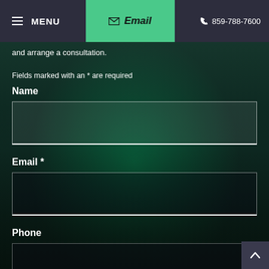MENU  Email  859-788-7600
and arrange a consultation.
Fields marked with an * are required
Name
Email *
Phone